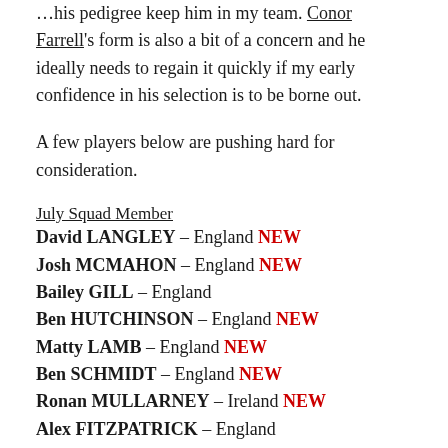…his pedigree keep him in my team. Conor Farrell's form is also a bit of a concern and he ideally needs to regain it quickly if my early confidence in his selection is to be borne out.
A few players below are pushing hard for consideration.
July Squad Member
David LANGLEY – England NEW
Josh MCMAHON – England NEW
Bailey GILL – England
Ben HUTCHINSON – England NEW
Matty LAMB – England NEW
Ben SCHMIDT – England NEW
Ronan MULLARNEY – Ireland NEW
Alex FITZPATRICK – England
I have pushed the experienced David Langley for …